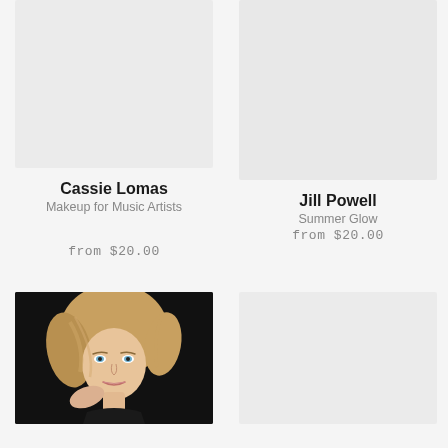[Figure (photo): Placeholder image area (light gray) for Cassie Lomas product]
Cassie Lomas
Makeup for Music Artists
from $20.00
[Figure (photo): Placeholder image area (light gray) for Jill Powell product]
Jill Powell
Summer Glow
from $20.00
[Figure (photo): Photo of a blonde woman with wavy hair against dark background]
[Figure (photo): Placeholder image area (light gray) for fourth product]